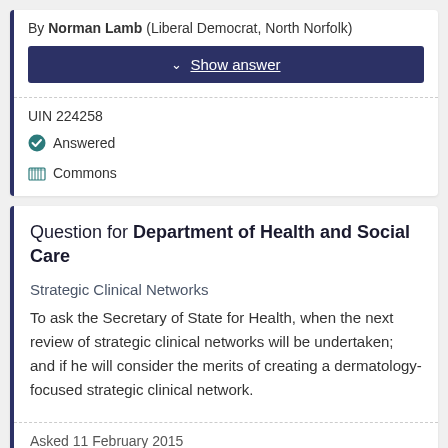By Norman Lamb (Liberal Democrat, North Norfolk)
Show answer
UIN 224258
Answered
Commons
Question for Department of Health and Social Care
Strategic Clinical Networks
To ask the Secretary of State for Health, when the next review of strategic clinical networks will be undertaken; and if he will consider the merits of creating a dermatology-focused strategic clinical network.
Asked 11 February 2015